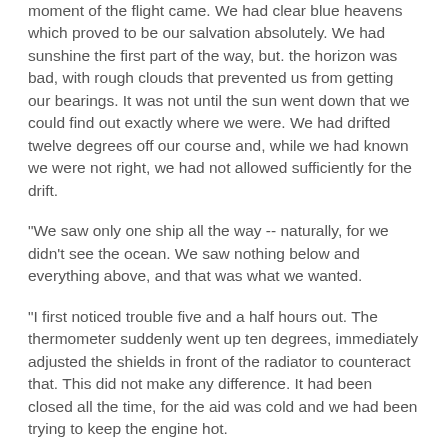moment of the flight came. We had clear blue heavens which proved to be our salvation absolutely. We had sunshine the first part of the way, but. the horizon was bad, with rough clouds that prevented us from getting our bearings. It was not until the sun went down that we could find out exactly where we were. We had drifted twelve degrees off our course and, while we had known we were not right, we had not allowed sufficiently for the drift.
"We saw only one ship all the way -- naturally, for we didn't see the ocean. We saw nothing below and everything above, and that was what we wanted.
"I first noticed trouble five and a half hours out. The thermometer suddenly went up ten degrees, immediately adjusted the shields in front of the radiator to counteract that. This did not make any difference. It had been closed all the time, for the aid was cold and we had been trying to keep the engine hot.
Trouble in Filter;
Water Begins to Boil